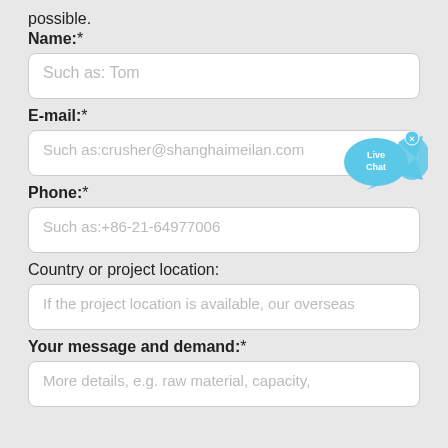possible.
Name:*
Such as: Tom
E-mail:*
Such as:crusher@shanghaimeilan.com
[Figure (illustration): Live Chat bubble icon in blue with fish shape and x close button]
Phone:*
Such as:+86-21-64977006
Country or project location:
If the project location is available, our overseas
Your message and demand:*
More details, e.g. raw material, capacity,